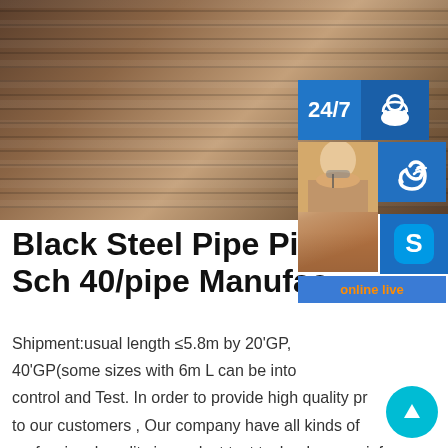[Figure (photo): Stack of steel plates/sheets, brown metallic color, viewed from the side showing layered edges]
[Figure (infographic): Sidebar with 24/7 support badge, phone icon, Skype icon, customer service representative photo, PROVIDE Empowering Customers text, online live button, and up-arrow scroll button]
Black Steel Pipe Pipe C Sch 40/pipe Manufac
Shipment:usual length ≤5.8m by 20'GP, 40'GP(some sizes with 6m L can be into control and Test. In order to provide high quality pr to our customers , Our company have all kinds of professional quality in product test technology .sp.info China Bottom price China Steel Pipe Galvanised Tube Sch40 Our development depends on the advanced